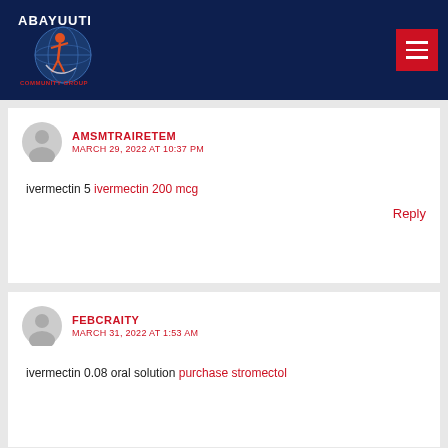ABAYUUTI COMMUNITY GROUP
AMSMTRAIRETEM
MARCH 29, 2022 AT 10:37 PM

ivermectin 5 ivermectin 200 mcg

Reply
FEBCRAITY
MARCH 31, 2022 AT 1:53 AM

ivermectin 0.08 oral solution purchase stromectol